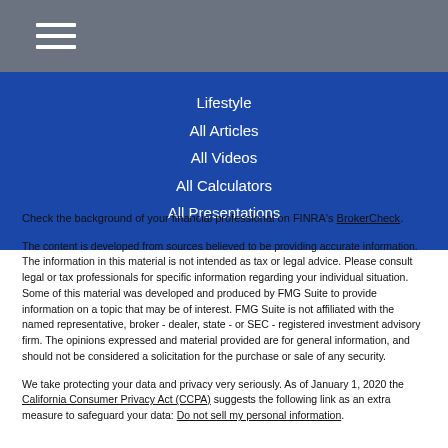≡ (hamburger menu)
Lifestyle
All Articles
All Videos
All Calculators
All Presentations
Check the background of your financial professional on FINRA's BrokerCheck.
The content is developed from sources believed to be providing accurate information. The information in this material is not intended as tax or legal advice. Please consult legal or tax professionals for specific information regarding your individual situation. Some of this material was developed and produced by FMG Suite to provide information on a topic that may be of interest. FMG Suite is not affiliated with the named representative, broker - dealer, state - or SEC - registered investment advisory firm. The opinions expressed and material provided are for general information, and should not be considered a solicitation for the purchase or sale of any security.
We take protecting your data and privacy very seriously. As of January 1, 2020 the California Consumer Privacy Act (CCPA) suggests the following link as an extra measure to safeguard your data: Do not sell my personal information.